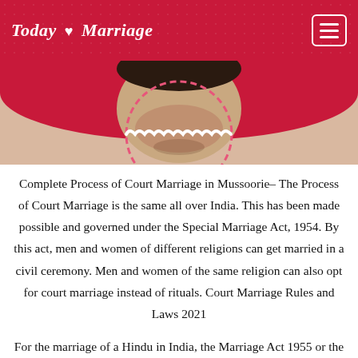Today ♥ Marriage
[Figure (photo): Partial photo of a person's face/chin area inside a decorative scalloped circle frame, with a red arched banner background]
Complete Process of Court Marriage in Mussoorie– The Process of Court Marriage is the same all over India. This has been made possible and governed under the Special Marriage Act, 1954. By this act, men and women of different religions can get married in a civil ceremony. Men and women of the same religion can also opt for court marriage instead of rituals. Court Marriage Rules and Laws 2021
For the marriage of a Hindu in India, the Marriage Act 1955 or the Special Marriage Act 1954, under this all marriages